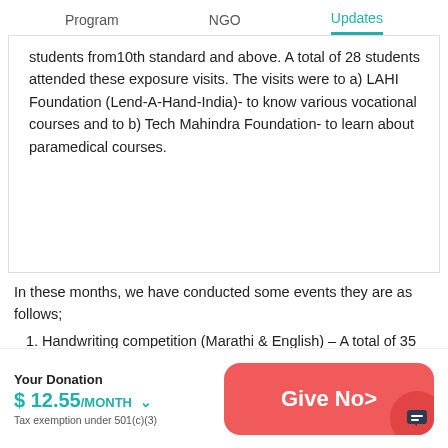Program   NGO   Updates
students from10th standard and above. A total of 28 students attended these exposure visits. The visits were to a) LAHI Foundation (Lend-A-Hand-India)- to know various vocational courses and to b) Tech Mahindra Foundation- to learn about paramedical courses.
In these months, we have conducted some events they are as follows;
1. Handwriting competition (Marathi & English) – A total of 35 students participated.
2. Raksha Bandhan camping (Raksha Bandh
Your Donation
$ 12.55/MONTH ∨
Tax exemption under 501(c)(3)
Give Now